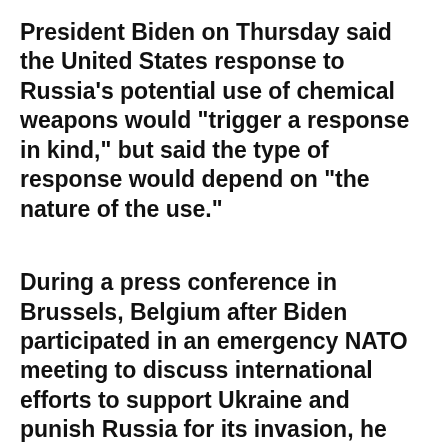President Biden on Thursday said the United States response to Russia’s potential use of chemical weapons would “trigger a response in kind,” but said the type of response would depend on “the nature of the use.”
During a press conference in Brussels, Belgium after Biden participated in an emergency NATO meeting to discuss international efforts to support Ukraine and punish Russia for its invasion, he was pressed on if the United States has collected intelligence that suggests the Kremlin is moving to deploy chemical weapons.
“We would respond,” Biden said. “We would respond if he uses it.